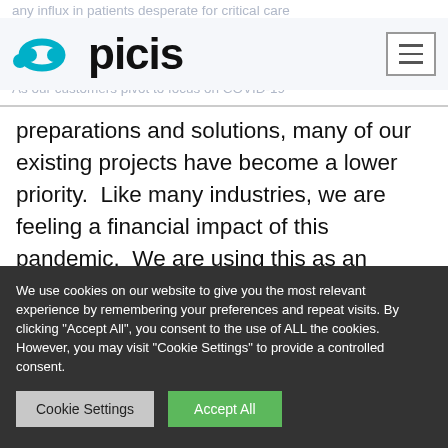any influx in patients desperate for critical care
[Figure (logo): Picis logo with teal dots and wordmark 'picis']
As our customers pivot to focus on COVID-19
preparations and solutions, many of our existing projects have become a lower priority. Like many industries, we are feeling a financial impact of this pandemic. We are using this as an opportunity to cross-train staff as well as gather 25 years of best practices into creating a "standard configuration".
We use cookies on our website to give you the most relevant experience by remembering your preferences and repeat visits. By clicking "Accept All", you consent to the use of ALL the cookies. However, you may visit "Cookie Settings" to provide a controlled consent.
Cookie Settings | Accept All